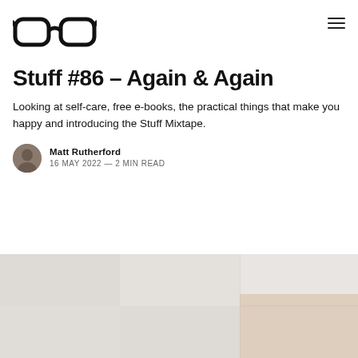[Figure (logo): Glasses/spectacles logo icon in black outline on white background]
Stuff #86 - Again & Again
Looking at self-care, free e-books, the practical things that make you happy and introducing the Stuff Mixtape.
Matt Rutherford
16 MAY 2022 — 2 MIN READ
[Figure (photo): Partially visible hero image with light gray/beige background, appears to be a grid or collection layout, bottom portion of page]